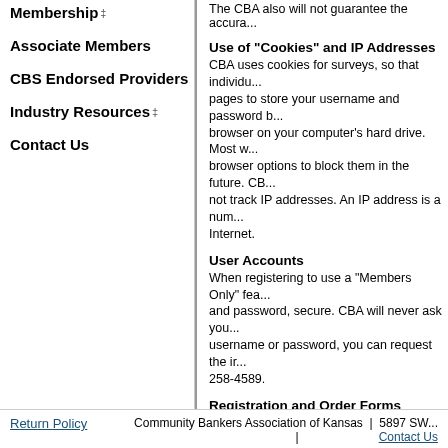Membership
Associate Members
CBS Endorsed Providers
Industry Resources
Contact Us
The CBA also will not guarantee the accura...
Use of "Cookies" and IP Addresses
CBA uses cookies for surveys, so that individu... pages to store your username and password b... browser on your computer's hard drive. Most w... browser options to block them in the future. CB... not track IP addresses. An IP address is a num... Internet.
User Accounts
When registering to use a "Members Only" fea... and password, secure. CBA will never ask you... username or password, you can request the ir... 258-4589.
Registration and Order Forms
Registration and order forms on this site opera... number, etc.) and/or financial information (i.e.,... credit cards, and/or CBA invoices and to conta... forms is used only by CBA. It is not sold or pr...
Security
This site has security measures in place to pr...
Disclaimer
The Community Bankers Association of Kansa... this website should be considered as the final...
Community Bankers Association of Kansas | 5897 SW... | Contact Us
Return Policy